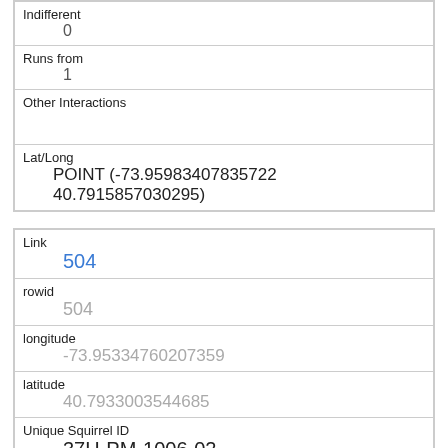| Indifferent | 0 |
| Runs from | 1 |
| Other Interactions |  |
| Lat/Long | POINT (-73.95983407835722 40.7915857030295) |
| Link | 504 |
| rowid | 504 |
| longitude | -73.95334760207359 |
| latitude | 40.7933003544685 |
| Unique Squirrel ID | 37H-PM-1006-02 |
| Hectare | 37H |